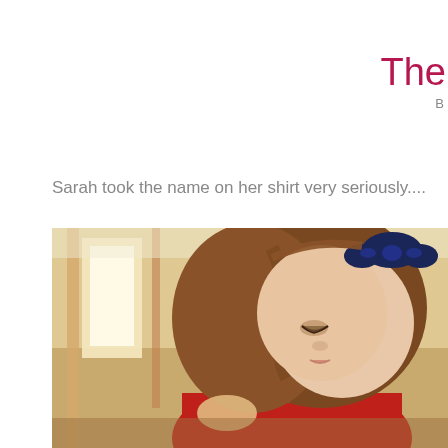The
Sarah took the name on her shirt very seriously....
[Figure (photo): A young girl with brown hair and a navy blue bow, wearing a red shirt, looking downward. She is photographed in a home interior with a staircase visible in the background.]